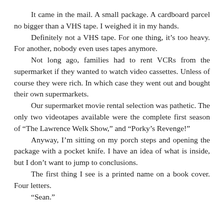It came in the mail. A small package. A cardboard parcel no bigger than a VHS tape. I weighed it in my hands.
Definitely not a VHS tape. For one thing, it’s too heavy. For another, nobody even uses tapes anymore.
Not long ago, families had to rent VCRs from the supermarket if they wanted to watch video cassettes. Unless of course they were rich. In which case they went out and bought their own supermarkets.
Our supermarket movie rental selection was pathetic. The only two videotapes available were the complete first season of “The Lawrence Welk Show,” and “Porky’s Revenge!”
Anyway, I’m sitting on my porch steps and opening the package with a pocket knife. I have an idea of what is inside, but I don’t want to jump to conclusions.
The first thing I see is a printed name on a book cover. Four letters.
“Sean.”